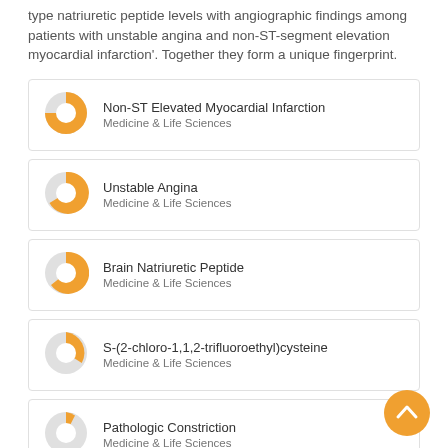type natriuretic peptide levels with angiographic findings among patients with unstable angina and non-ST-segment elevation myocardial infarction'. Together they form a unique fingerprint.
Non-ST Elevated Myocardial Infarction
Medicine & Life Sciences
Unstable Angina
Medicine & Life Sciences
Brain Natriuretic Peptide
Medicine & Life Sciences
S-(2-chloro-1,1,2-trifluoroethyl)cysteine
Medicine & Life Sciences
Pathologic Constriction
Medicine & Life Sciences